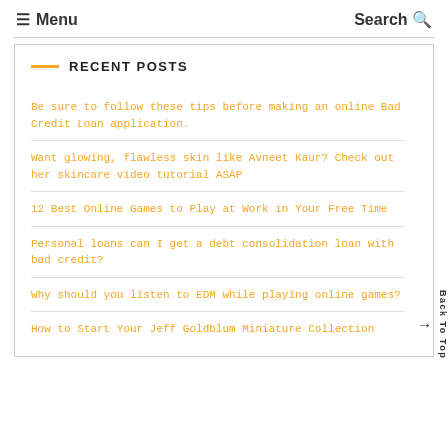≡ Menu   Search Q
RECENT POSTS
Be sure to follow these tips before making an online Bad Credit Loan application.
Want glowing, flawless skin like Avneet Kaur? Check out her skincare video tutorial ASAP
12 Best Online Games to Play at Work in Your Free Time
Personal loans can I get a debt consolidation loan with bad credit?
Why should you listen to EDM while playing online games?
How to Start Your Jeff Goldblum Miniature Collection